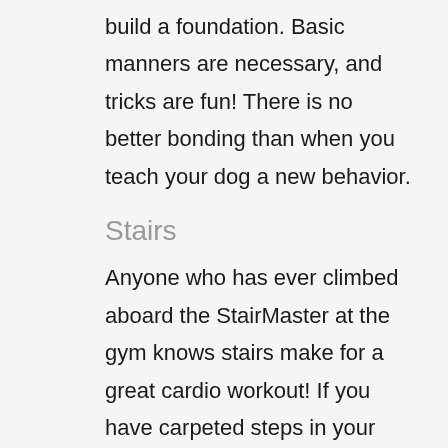build a foundation. Basic manners are necessary, and tricks are fun! There is no better bonding than when you teach your dog a new behavior.
Stairs
Anyone who has ever climbed aboard the StairMaster at the gym knows stairs make for a great cardio workout! If you have carpeted steps in your home, take